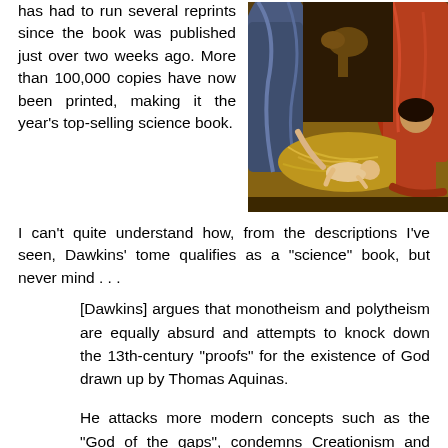has had to run several reprints since the book was published just over two weeks ago. More than 100,000 copies have now been printed, making it the year's top-selling science book.
[Figure (illustration): A religious painting depicting the nativity scene with figures in blue and red robes and a baby lying on straw.]
I can't quite understand how, from the descriptions I've seen, Dawkins' tome qualifies as a "science" book, but never mind . . .
[Dawkins] argues that monotheism and polytheism are equally absurd and attempts to knock down the 13th-century "proofs" for the existence of God drawn up by Thomas Aquinas.
He attacks more modern concepts such as the "God of the gaps", condemns Creationism and blames religion itself rather than religious extremism for manifestations of fundamentalism...